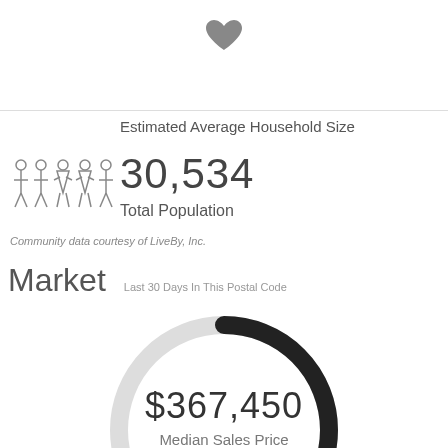[Figure (illustration): Gray heart icon at top center of page]
Estimated Average Household Size
[Figure (infographic): People/family icons (5 figures) representing population]
30,534
Total Population
Community data courtesy of LiveBy, Inc.
Market
Last 30 Days In This Postal Code
[Figure (donut-chart): Donut/ring chart showing market data. Dark arc segment overlaid on light gray ring. Center shows $367,450 Median Sales Price.]
$367,450
Median Sales Price